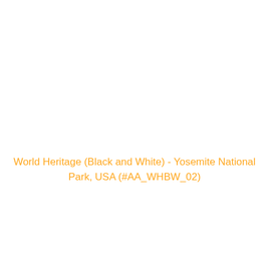World Heritage (Black and White) - Yosemite National Park, USA (#AA_WHBW_02)